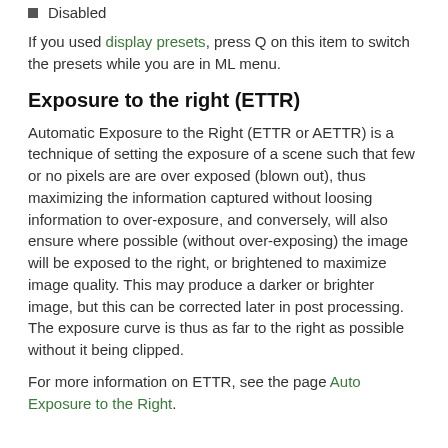Disabled
If you used display presets, press Q on this item to switch the presets while you are in ML menu.
Exposure to the right (ETTR)
Automatic Exposure to the Right (ETTR or AETTR) is a technique of setting the exposure of a scene such that few or no pixels are are over exposed (blown out), thus maximizing the information captured without loosing information to over-exposure, and conversely, will also ensure where possible (without over-exposing) the image will be exposed to the right, or brightened to maximize image quality. This may produce a darker or brighter image, but this can be corrected later in post processing. The exposure curve is thus as far to the right as possible without it being clipped.
For more information on ETTR, see the page Auto Exposure to the Right.